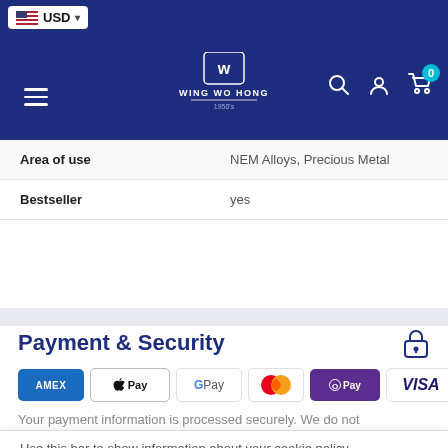Wing Wo Hong - Header navigation with USD currency selector, logo, search, account, and cart icons
| Property | Value |
| --- | --- |
| Area of use | NEM Alloys, Precious Metal |
| Bestseller | yes |
Payment & Security
[Figure (infographic): Payment method icons: American Express (AMEX), Apple Pay, Google Pay, Mastercard, Samsung Pay, Visa]
Your payment information is processed securely. We do not
Use this bar to show information about your cookie policy.
Accept